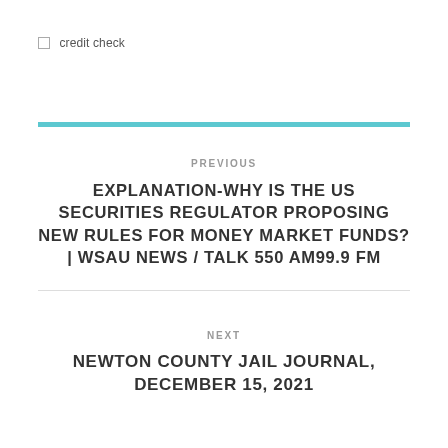credit check
PREVIOUS
EXPLANATION-WHY IS THE US SECURITIES REGULATOR PROPOSING NEW RULES FOR MONEY MARKET FUNDS? | WSAU NEWS / TALK 550 AM99.9 FM
NEXT
NEWTON COUNTY JAIL JOURNAL, DECEMBER 15, 2021